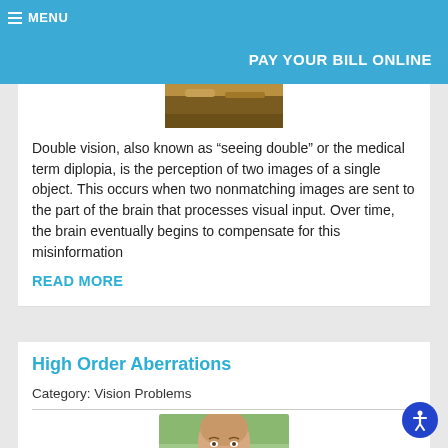MENU | PAY YOUR BILL ONLINE
[Figure (photo): Partial photo of a person, cropped at top of card, showing background texture/head area]
Double vision, also known as “seeing double” or the medical term diplopia, is the perception of two images of a single object. This occurs when two nonmatching images are sent to the part of the brain that processes visual input. Over time, the brain eventually begins to compensate for this misinformation
READ MORE
High Order Aberrations
Category: Vision Problems
[Figure (photo): Photo of an older bald man smiling, outdoors with green background, partial view]